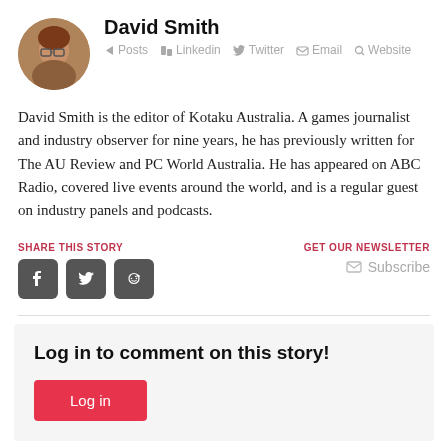David Smith
Posts  Linkedin  Twitter  Email  Website
David Smith is the editor of Kotaku Australia. A games journalist and industry observer for nine years, he has previously written for The AU Review and PC World Australia. He has appeared on ABC Radio, covered live events around the world, and is a regular guest on industry panels and podcasts.
SHARE THIS STORY
[Figure (other): Share buttons: Facebook, Twitter, Reddit icons in dark rounded square buttons]
GET OUR NEWSLETTER
Subscribe
Log in to comment on this story!
Log in